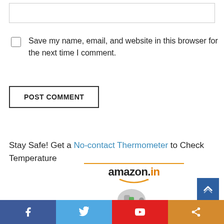[text input field]
Save my name, email, and website in this browser for the next time I comment.
POST COMMENT
Stay Safe! Get a No-contact Thermometer to Check Temperature
[Figure (other): Amazon.in advertisement banner with logo, orange underline, and no-contact thermometer product image]
[Figure (other): Scroll to top button (blue with up arrow chevron)]
Social share bar: Facebook, Twitter, YouTube, Share